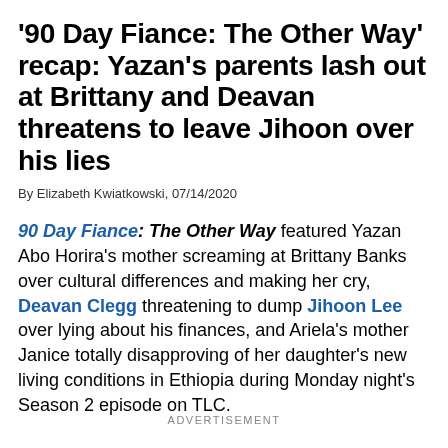'90 Day Fiance: The Other Way' recap: Yazan's parents lash out at Brittany and Deavan threatens to leave Jihoon over his lies
By Elizabeth Kwiatkowski, 07/14/2020
90 Day Fiance: The Other Way featured Yazan Abo Horira's mother screaming at Brittany Banks over cultural differences and making her cry, Deavan Clegg threatening to dump Jihoon Lee over lying about his finances, and Ariela's mother Janice totally disapproving of her daughter's new living conditions in Ethiopia during Monday night's Season 2 episode on TLC.
ADVERTISEMENT